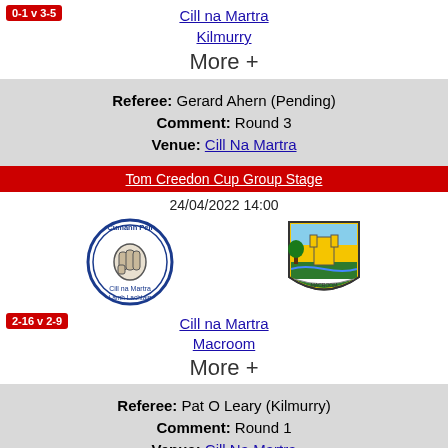Cill na Martra
Kilmurry
0-1 v 3-5
More +
Referee: Gerard Ahern (Pending)
Comment: Round 3
Venue: Cill Na Martra
Tom Creedon Cup Group Stage
24/04/2022 14:00
[Figure (logo): Cill na Martra GAA club crest - circular blue text logo with fist emblem]
[Figure (logo): Macroom GAA club crest - shield with yellow and green design]
2-16 v 2-9
Cill na Martra
Macroom
More +
Referee: Pat O Leary (Kilmurry)
Comment: Round 1
Venue: Cill Na Martra